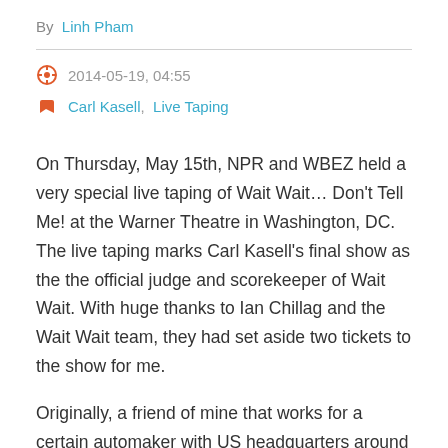By Linh Pham
2014-05-19, 04:55
Carl Kasell,  Live Taping
On Thursday, May 15th, NPR and WBEZ held a very special live taping of Wait Wait… Don't Tell Me! at the Warner Theatre in Washington, DC. The live taping marks Carl Kasell's final show as the the official judge and scorekeeper of Wait Wait. With huge thanks to Ian Chillag and the Wait Wait team, they had set aside two tickets to the show for me.
Originally, a friend of mine that works for a certain automaker with US headquarters around